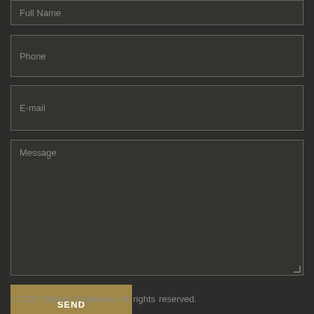Full Name
Phone
E-mail
Message
SEND
© 2022 Texture Properties. All rights reserved.